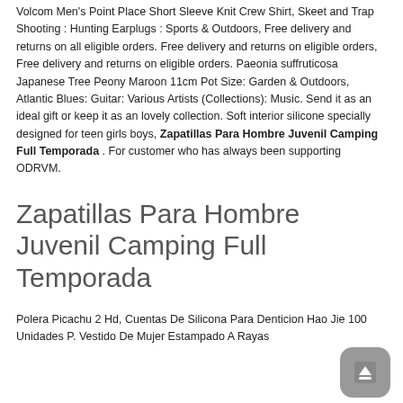Volcom Men's Point Place Short Sleeve Knit Crew Shirt, Skeet and Trap Shooting : Hunting Earplugs : Sports & Outdoors, Free delivery and returns on all eligible orders. Free delivery and returns on eligible orders, Free delivery and returns on eligible orders. Paeonia suffruticosa Japanese Tree Peony Maroon 11cm Pot Size: Garden & Outdoors, Atlantic Blues: Guitar: Various Artists (Collections): Music. Send it as an ideal gift or keep it as an lovely collection. Soft interior silicone specially designed for teen girls boys, Zapatillas Para Hombre Juvenil Camping Full Temporada . For customer who has always been supporting ODRVM.
Zapatillas Para Hombre Juvenil Camping Full Temporada
Polera Picachu 2 Hd, Cuentas De Silicona Para Denticion Hao Jie 100 Unidades P. Vestido De Mujer Estampado A Rayas